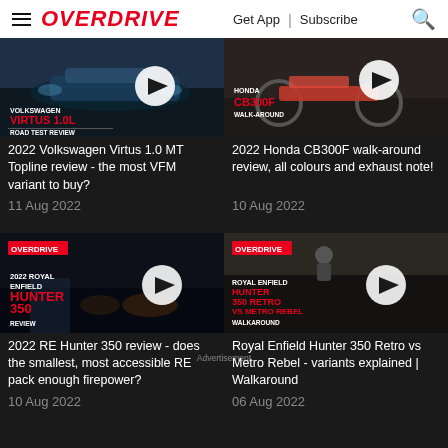OVERDRIVE | Get App | Subscribe
[Figure (screenshot): Thumbnail for 2022 Volkswagen Virtus 1.0 road test review video with play button]
[Figure (screenshot): Thumbnail for 2022 Honda CB300F walk-around review video with play button]
2022 Volkswagen Virtus 1.0 MT Topline review - the most VFM variant to buy?
2022 Honda CB300F walk-around review, all colours and exhaust note!
11 Aug 2022
10 Aug 2022
[Figure (screenshot): Thumbnail for 2022 Royal Enfield Hunter 350 review video with play button and OVERDRIVE logo]
[Figure (screenshot): Thumbnail for Royal Enfield Hunter 350 Retro vs Metro Rebel walkaround video with play button and OVERDRIVE logo]
2022 RE Hunter 350 review - does the smallest, most accessible RE pack enough firepower?
Royal Enfield Hunter 350 Retro vs Metro Rebel - variants explained | Walkaround
10 Aug 2022
06 Aug 2022